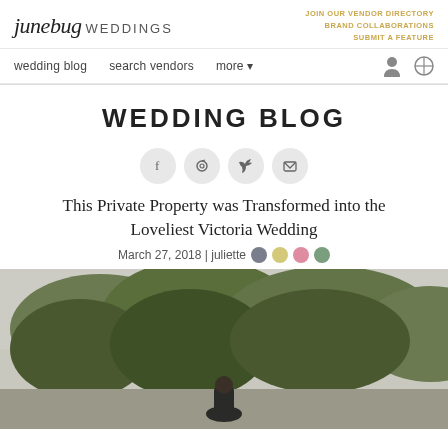junebug WEDDINGS | JOIN OUR VENDOR DIRECTORY | BRAND COLLABORATIONS | SUBMIT A FEATURE
wedding blog | search vendors | more
WEDDING BLOG
[Figure (other): Social media share icons: Facebook, Pinterest, Twitter, Email — four circular grey buttons]
This Private Property was Transformed into the Loveliest Victoria Wedding
March 27, 2018 | juliette [color swatches: grey, gold, pink, green]
[Figure (photo): Outdoor wedding photo showing a couple among trees with overcast sky, natural green landscape]